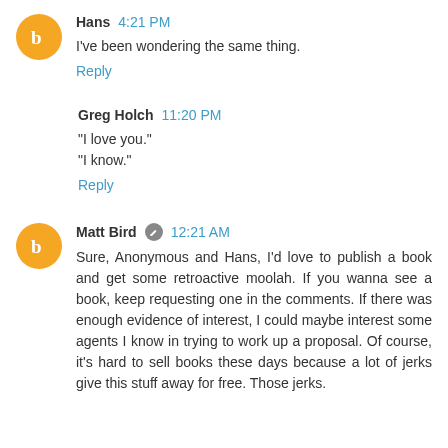Hans 4:21 PM
I've been wondering the same thing.
Reply
Greg Holch 11:20 PM
"I love you."
"I know."
Reply
Matt Bird 12:21 AM
Sure, Anonymous and Hans, I'd love to publish a book and get some retroactive moolah. If you wanna see a book, keep requesting one in the comments. If there was enough evidence of interest, I could maybe interest some agents I know in trying to work up a proposal. Of course, it's hard to sell books these days because a lot of jerks give this stuff away for free. Those jerks.